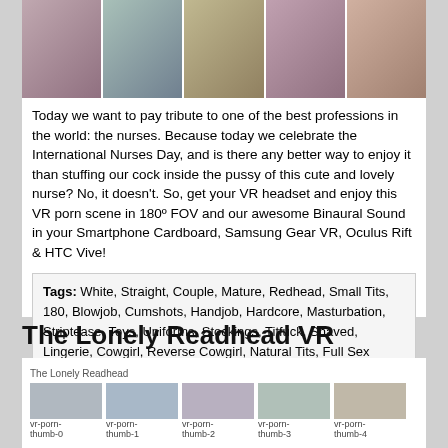[Figure (photo): Row of 5 thumbnail images from a VR adult video scene]
Today we want to pay tribute to one of the best professions in the world: the nurses. Because today we celebrate the International Nurses Day, and is there any better way to enjoy it than stuffing our cock inside the pussy of this cute and lovely nurse? No, it doesn’t. So, get your VR headset and enjoy this VR porn scene in 180º FOV and our awesome Binaural Sound in your Smartphone Cardboard, Samsung Gear VR, Oculus Rift & HTC Vive!
Tags: White, Straight, Couple, Mature, Redhead, Small Tits, 180, Blowjob, Cumshots, Handjob, Hardcore, Masturbation, Striptease, Toys, Uniforms, Stockings, Titfuck, Shaved, Lingerie, Cowgirl, Reverse Cowgirl, Natural Tits, Full Sex
[Figure (logo): VirtualRealPorn logo on black background]
WATCH MOVIE
The Lonely Readhead VR
[Figure (photo): The Lonely Readhead main thumbnail and 5 smaller thumbnails]